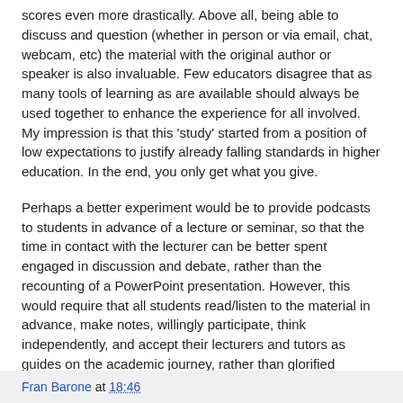scores even more drastically. Above all, being able to discuss and question (whether in person or via email, chat, webcam, etc) the material with the original author or speaker is also invaluable. Few educators disagree that as many tools of learning as are available should always be used together to enhance the experience for all involved. My impression is that this 'study' started from a position of low expectations to justify already falling standards in higher education. In the end, you only get what you give.
Perhaps a better experiment would be to provide podcasts to students in advance of a lecture or seminar, so that the time in contact with the lecturer can be better spent engaged in discussion and debate, rather than the recounting of a PowerPoint presentation. However, this would require that all students read/listen to the material in advance, make notes, willingly participate, think independently, and accept their lecturers and tutors as guides on the academic journey, rather than glorified notetakers. There's always a catch!
Fran Barone at 18:46